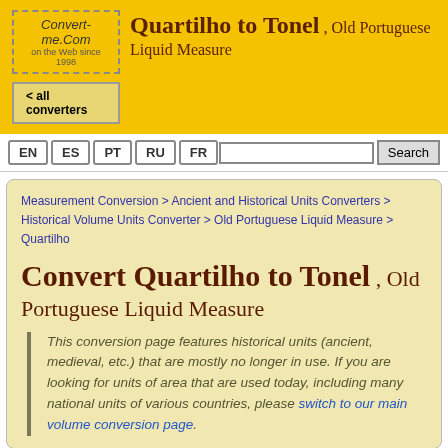Convert-me.Com on the Web since 1996
Quartilho to Tonel , Old Portuguese Liquid Measure
< all converters
EN ES PT RU FR Search
Measurement Conversion > Ancient and Historical Units Converters > Historical Volume Units Converter > Old Portuguese Liquid Measure > Quartilho
Convert Quartilho to Tonel , Old Portuguese Liquid Measure
This conversion page features historical units (ancient, medieval, etc.) that are mostly no longer in use. If you are looking for units of area that are used today, including many national units of various countries, please switch to our main volume conversion page.